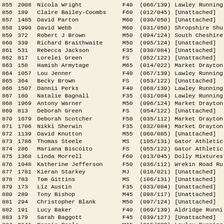| Pos | Bib | Name | Cat | Cat Pos | Club |
| --- | --- | --- | --- | --- | --- |
| 855 | 2008 | Nicola Wright | F40 | (066/139) | Lawley Running |
| 856 | 189 | Claire Bailey-Coombs | F60 | (012/045) | [Unattached] |
| 857 | 1485 | David Parton | M60 | (030/050) | [Unattached] |
| 858 | 1990 | David Webb | M60 | (031/050) | Shropshire Shu |
| 859 | 372 | Robert J Brown | M50 | (094/124) | South Cheshire |
| 860 | 339 | Richard Braithwaite | M50 | (095/124) | [Unattached] |
| 861 | 531 | Rebecca Jackson | F35 | (030/084) | [Unattached] |
| 862 | 817 | Lorelei Green | FS | (052/122) | [Unattached] |
| 863 | 158 | Hamish Armytage | M65 | (014/022) | Market Drayton |
| 864 | 1057 | Lou Jenner | F40 | (067/139) | Lawley Running |
| 865 | 364 | Becky Brown | FS | (053/122) | [Unattached] |
| 866 | 1507 | Dannii Perks | F40 | (068/139) | Lawley Running |
| 867 | 180 | Natalie Bagnall | F35 | (031/084) | Lawley Running |
| 868 | 1969 | Antony Warner | M50 | (096/124) | Market Drayton |
| 869 | 813 | Deborah Green | FS | (054/122) | [Unattached] |
| 870 | 1679 | Deborah Scotcher | F50 | (035/112) | Market Drayton |
| 871 | 1706 | Nikki Sherwin | F35 | (032/084) | Market Drayton |
| 872 | 1139 | David Knutton | M55 | (060/085) | [Unattached] |
| 873 | 1786 | Thomas Steele | MS | (105/131) | Gator Athletic |
| 874 | 286 | Mariana Biscoito | FS | (055/122) | Gator Athletic |
| 875 | 1368 | Linda Morrell | F60 | (013/045) | Dolly Mixtures |
| 876 | 1048 | Katherine Jefferson | F50 | (036/112) | Wrekin Road Ru |
| 877 | 1781 | Kieran Starkey | MJ | (018/021) | [Unattached] |
| 878 | 783 | Tom Gittins | MS | (106/131) | [Unattached] |
| 879 | 173 | Liz Austin | F35 | (033/084) | [Unattached] |
| 880 | 289 | Tony Bishop | M45 | (098/117) | [Unattached] |
| 881 | 294 | Christopher Blank | M50 | (097/124) | [Unattached] |
| 882 | 191 | Lucy Baker | F40 | (069/139) | Aldridge Runni |
| 883 | 179 | Sarah Baggott | F45 | (039/127) | [Unattached] |
| 884 | 2141 | Ronnie Poole | M65 | (015/022) | Lawley Running |
| 885 | 1043 | Phil James | M55 | (061/085) | [Unattached] |
| 886 | 1040 | Fiona James | F45 | (040/127) | [Unattached] |
| 887 | 292 | Russell Blair | M50 | (098/124) | Wolverhampton |